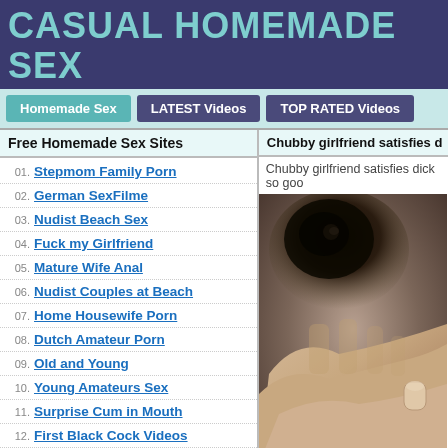CASUAL HOMEMADE SEX
Homemade Sex | LATEST Videos | TOP RATED Videos
Free Homemade Sex Sites
01. Stepmom Family Porn
02. German SexFilme
03. Nudist Beach Sex
04. Fuck my Girlfriend
05. Mature Wife Anal
06. Nudist Couples at Beach
07. Home Housewife Porn
08. Dutch Amateur Porn
09. Old and Young
10. Young Amateurs Sex
11. Surprise Cum in Mouth
12. First Black Cock Videos
13. Girlfriend Anal Videos
Chubby girlfriend satisfies d
Chubby girlfriend satisfies dick so goo
[Figure (photo): Blurred close-up photo]